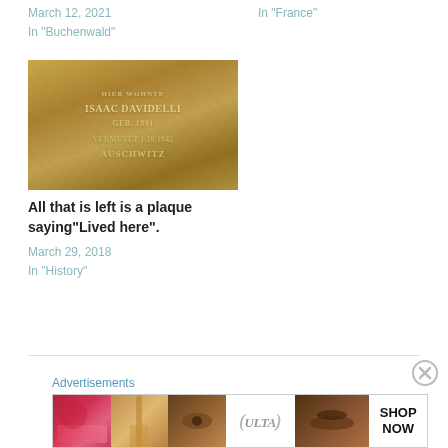March 12, 2021
In "Buchenwald"
In "France"
[Figure (photo): A brass or bronze memorial plaque (Stolperstein) with engraved text including 'HIER WOHNTE', 'ISAAC DAVIDELLI', 'GEB. 1891', 'VERMUTET 1.10.1942', 'AUSCHWITZ']
All that is left is a plaque saying“Lived here”.
March 29, 2018
In "History"
Advertisements
[Figure (photo): Ulta Beauty advertisement banner showing makeup imagery including lips, brush, eye, Ulta logo, eyes and 'SHOP NOW' text]